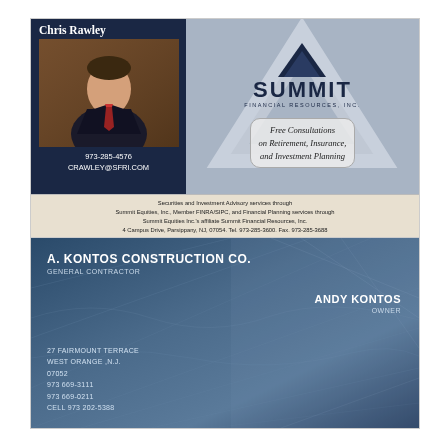[Figure (photo): Business card for Chris Rawley at Summit Financial Resources, Inc. Features a photo of a man in a suit and tie on the left side with dark navy background, and the Summit Financial logo with triangle icon on the right side with grey background. Includes contact information: 973-285-4576, CRAWLEY@SFRI.COM, and a box with 'Free Consultations on Retirement, Insurance, and Investment Planning'. Footer text includes legal disclosures about Summit Equities, Inc., Member FINRA/SIPC, located at 4 Campus Drive, Parsippany, NJ, 07054.]
[Figure (photo): Business card for A. Kontos Construction Co., General Contractor. Blue textured background. Shows: ANDY KONTOS, OWNER. Address: 27 FAIRMOUNT TERRACE, WEST ORANGE, N.J. 07052. Phone: 973 669-3111, 973 669-0211, CELL 973 202-5388.]